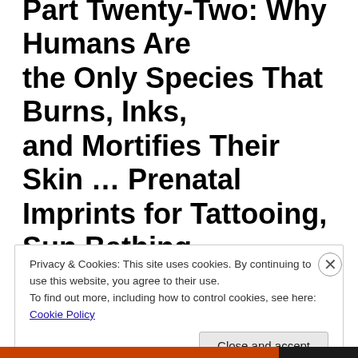Part Twenty-Two: Why Humans Are the Only Species That Burns, Inks, and Mortifies Their Skin … Prenatal Imprints for Tattooing, Sun Bathing,
Privacy & Cookies: This site uses cookies. By continuing to use this website, you agree to their use.
To find out more, including how to control cookies, see here: Cookie Policy